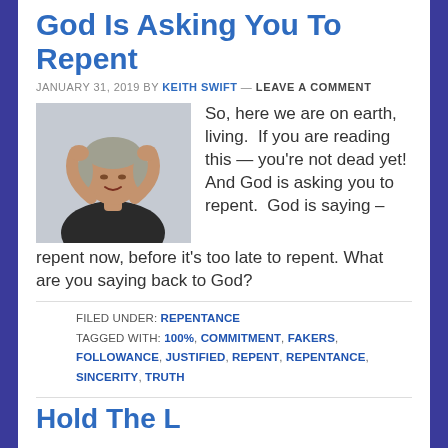God Is Asking You To Repent
JANUARY 31, 2019 BY KEITH SWIFT — LEAVE A COMMENT
[Figure (photo): Person with hands on head, looking stressed, wearing a dark t-shirt against a light gray background]
So, here we are on earth, living. If you are reading this — you're not dead yet! And God is asking you to repent. God is saying – repent now, before it's too late to repent. What are you saying back to God?
FILED UNDER: REPENTANCE
TAGGED WITH: 100%, COMMITMENT, FAKERS, FOLLOWANCE, JUSTIFIED, REPENT, REPENTANCE, SINCERITY, TRUTH